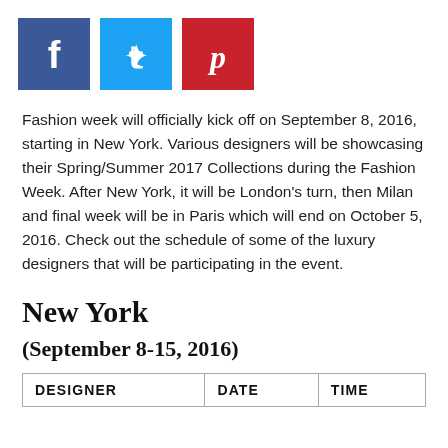[Figure (other): Social media share buttons: Facebook (blue), Twitter (light blue), Pinterest (red)]
Fashion week will officially kick off on September 8, 2016, starting in New York. Various designers will be showcasing their Spring/Summer 2017 Collections during the Fashion Week. After New York, it will be London's turn, then Milan and final week will be in Paris which will end on October 5, 2016. Check out the schedule of some of the luxury designers that will be participating in the event.
New York
(September 8-15, 2016)
| DESIGNER | DATE | TIME |
| --- | --- | --- |